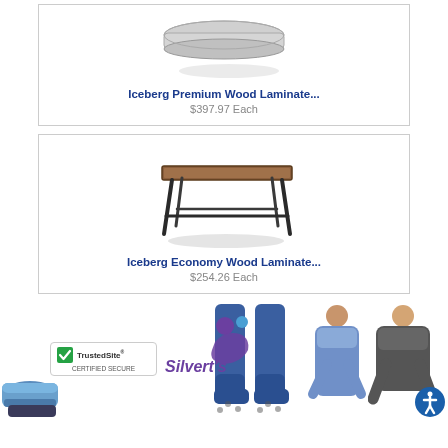[Figure (photo): Iceberg Premium Wood Laminate folding table product image]
Iceberg Premium Wood Laminate...
$397.97 Each
[Figure (photo): Iceberg Economy Wood Laminate folding table product image - brown rectangular table with black folding legs]
Iceberg Economy Wood Laminate...
$254.26 Each
[Figure (photo): Footer banner showing Silvert's logo, TrustedSite certified secure badge, blue socks, woman in blue hospital gown, man in grey polo shirt, and accessibility icon]